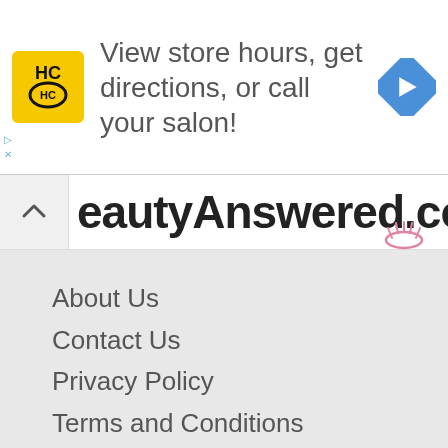[Figure (other): Advertisement banner: HC logo (yellow square with black HC text) and text 'View store hours, get directions, or call your salon!' with a blue diamond navigation arrow icon on the right.]
eautyAnswered.com
About Us
Contact Us
Privacy Policy
Terms and Conditions
Copyright 2003 - 2022
Conjecture Corporation